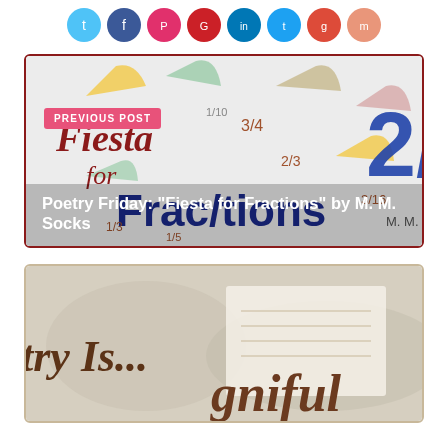[Figure (illustration): Row of colored social share icon circles: light blue, dark blue, red/pink, red, blue (LinkedIn), dark blue, orange-red, pink/salmon]
[Figure (photo): Book cover image for 'Fiesta for Fractions' by M.M. Socks showing colorful fraction numbers and pie slices on a white background with dark red script text]
PREVIOUS POST
Poetry Friday: "Fiesta for Fractions" by M. M. Socks
[Figure (photo): Partial image showing 'Poetry Is... meaningful' text in brown cursive on a world map background with paper/letter imagery]